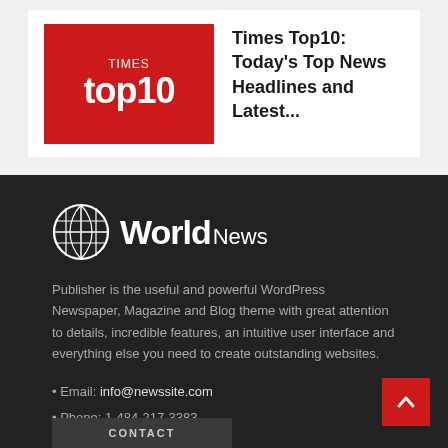[Figure (logo): Times Top10 red logo thumbnail with white text 'TIMES top10']
Times Top10: Today's Top News Headlines and Latest...
[Figure (logo): World News globe logo with white circle globe icon and 'World News' text in white]
Publisher is the useful and powerful WordPress Newspaper, Magazine and Blog theme with great attention to details, incredible features, an intuitive user interface and everything else you need to create outstanding websites.
• Email: info@newssite.com
• Phone: 1-484-217-3383
CONTACT